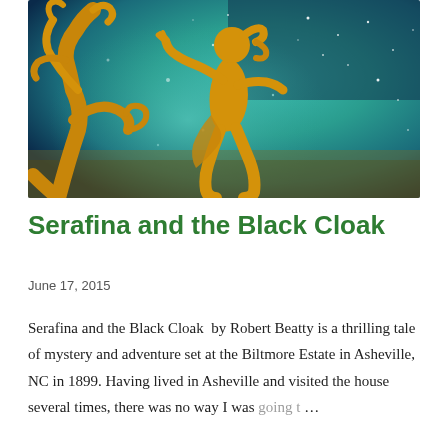[Figure (illustration): Illustrated book cover artwork showing a golden silhouette of a young girl leaning forward with arms outstretched, against a teal and dark blue starry background with a golden tree branch on the left side.]
Serafina and the Black Cloak
June 17, 2015
Serafina and the Black Cloak  by Robert Beatty is a thrilling tale of mystery and adventure set at the Biltmore Estate in Asheville, NC in 1899. Having lived in Asheville and visited the house several times, there was no way I was going t ...